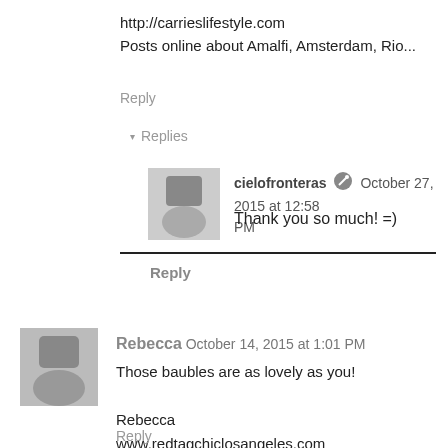http://carrieslifestyle.com
Posts online about Amalfi, Amsterdam, Rio...
Reply
▾ Replies
cielofronteras  October 27, 2015 at 12:58 PM
Thank you so much! =)
Reply
Rebecca  October 14, 2015 at 1:01 PM
Those baubles are as lovely as you!

Rebecca
www.redtagchiclosangeles.com
Reply